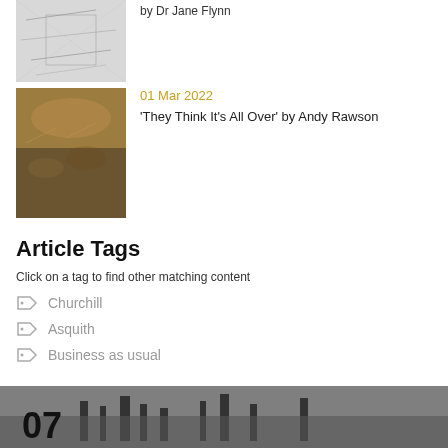[Figure (photo): Sketch/illustration image at top left, partially visible]
by Dr Jane Flynn
[Figure (photo): Battle painting showing soldiers in combat]
01 Mar 2022
'They Think It's All Over' by Andy Rawson
Article Tags
Click on a tag to find other matching content
Churchill
Asquith
Business as usual
[Figure (photo): Black and white historical photo at bottom, partially visible with large number 07]